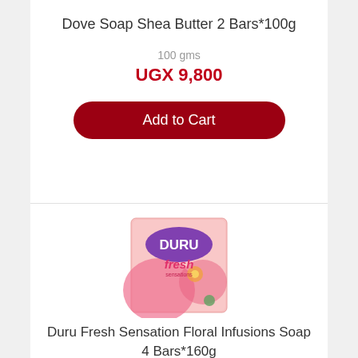Dove Soap Shea Butter 2 Bars*100g
100 gms
UGX 9,800
Add to Cart
[Figure (photo): Duru Fresh Sensation Floral Infusions soap product packaging — pink box with DURU logo in purple oval, 'fresh' text in pink, flower imagery]
Duru Fresh Sensation Floral Infusions Soap 4 Bars*160g